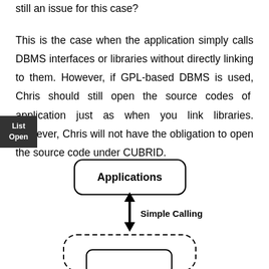still an issue for this case?
This is the case when the application simply calls DBMS interfaces or libraries without directly linking to them. However, if GPL-based DBMS is used, Chris should still open the source codes of application just as when you link libraries. However, Chris will not have the obligation to open the source code under CUBRID.
[Figure (flowchart): Flowchart showing 'Applications' box at top connected by a double-headed arrow labeled 'Simple Calling' to a dashed rounded box below (partially visible).]